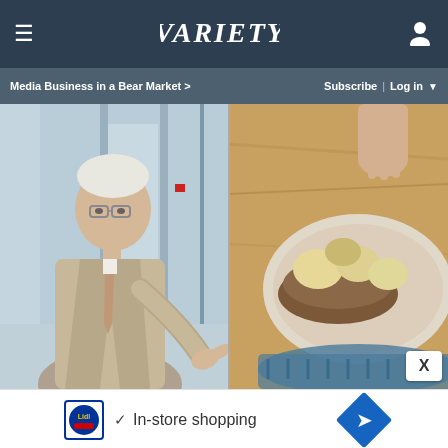VARIETY
Media Business in a Bear Market > | Subscribe | Log in
[Figure (photo): Screenshot of Variety website showing two side-by-side images: left image is a man in a beige/tan suit with glasses in a hallway pointing at something, right image shows hands preparing food with bread and potatoes on a plate on a wooden surface. There is a close X button overlay in the bottom right corner.]
[Figure (infographic): Advertisement banner showing Lidl logo, a checkmark with text 'In-store shopping', and a blue navigation arrow diamond icon. Below are small ad attribution icons.]